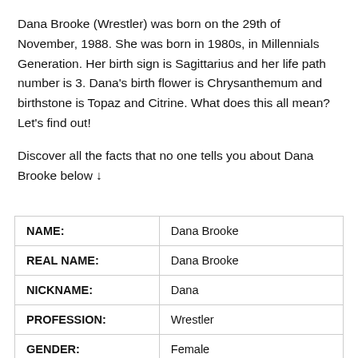Dana Brooke (Wrestler) was born on the 29th of November, 1988. She was born in 1980s, in Millennials Generation. Her birth sign is Sagittarius and her life path number is 3. Dana's birth flower is Chrysanthemum and birthstone is Topaz and Citrine. What does this all mean? Let's find out!
Discover all the facts that no one tells you about Dana Brooke below ↓
| NAME: | Dana Brooke |
| REAL NAME: | Dana Brooke |
| NICKNAME: | Dana |
| PROFESSION: | Wrestler |
| GENDER: | Female |